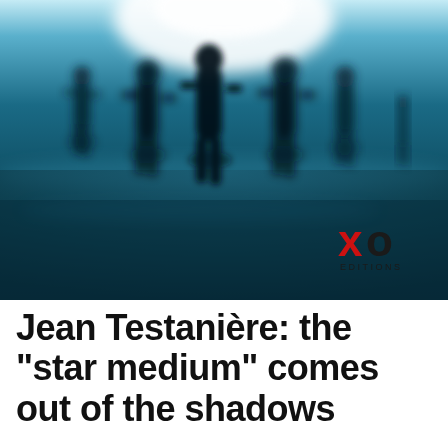[Figure (illustration): Dark teal/blue atmospheric book cover image showing silhouettes of several shadowy human figures standing in misty light, with a bright white glow at the top center. XO Editions publisher logo in lower right corner — red 'X' and dark 'O' with 'EDITIONS' text below.]
Jean Testanière: the "star medium" comes out of the shadows